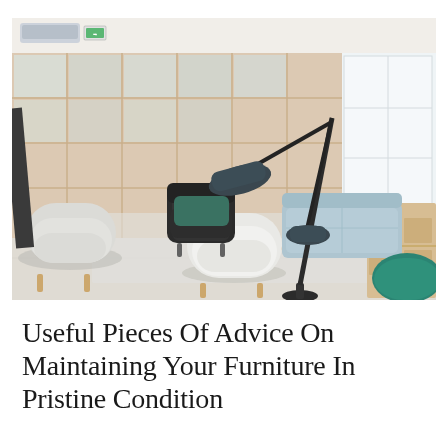[Figure (photo): Interior of a modern open-plan space with light-colored modular sofas, white and teal armchairs, a black arc floor lamp with two heads, wooden shelving unit on the right, large glass-paneled walls revealing another room behind, and an air conditioning unit visible top-left. A teal/green accent chair sits bottom-right corner.]
Useful Pieces Of Advice On Maintaining Your Furniture In Pristine Condition